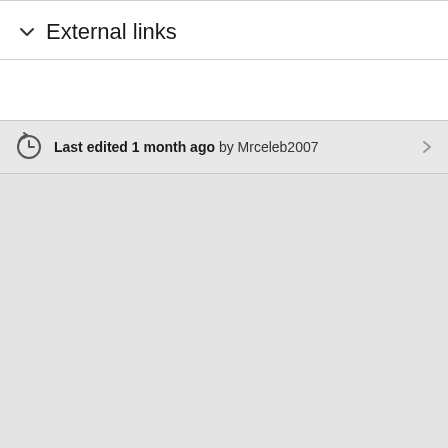External links
Last edited 1 month ago by Mrceleb2007